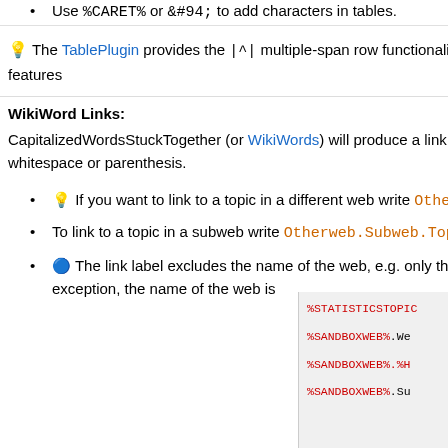Use %CARET% or &#94; to add characters in tables.
💡 The TablePlugin provides the |^| multiple-span row functionality and additional rendering features
WikiWord Links:
CapitalizedWordsStuckTogether (or WikiWords) will produce a link automatically if preceded by whitespace or parenthesis.
💡 If you want to link to a topic in a different web write Otherweb.TopicName.
To link to a topic in a subweb write Otherweb.Subweb.TopicName.
🔵 The link label excludes the name of the web, e.g. only the topic name is shown. As an exception, the name of the web is
[Figure (other): Right column panel showing wiki variable code examples: %STATISTICSTOPIC%, %SANDBOXWEB%.Web, %SANDBOXWEB%.%HO, %SANDBOXWEB%.Sub]